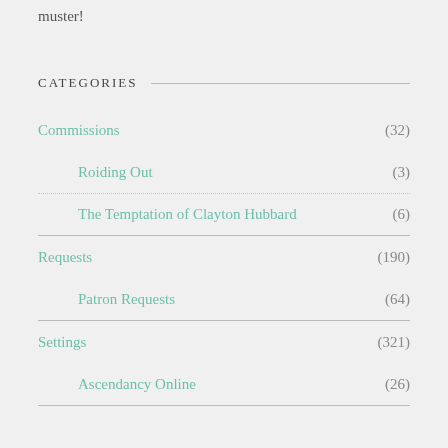muster!
CATEGORIES
Commissions (32)
Roiding Out (3)
The Temptation of Clayton Hubbard (6)
Requests (190)
Patron Requests (64)
Settings (321)
Ascendancy Online (26)